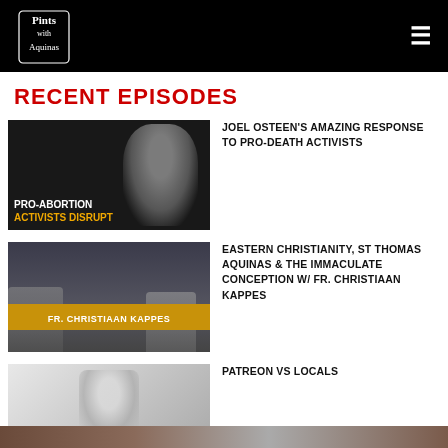Pints with Aquinas
RECENT EPISODES
[Figure (photo): Thumbnail for episode about pro-abortion activists disrupting with Joel Osteen in background]
JOEL OSTEEN'S AMAZING RESPONSE TO PRO-DEATH ACTIVISTS
[Figure (photo): Thumbnail for Fr. Christiaan Kappes episode on Eastern Christianity]
EASTERN CHRISTIANITY, ST THOMAS AQUINAS & THE IMMACULATE CONCEPTION W/ FR. CHRISTIAAN KAPPES
[Figure (photo): Thumbnail for Patreon vs Locals episode showing host at desk]
PATREON VS LOCALS
[Figure (photo): Partial thumbnail of fourth episode visible at bottom]